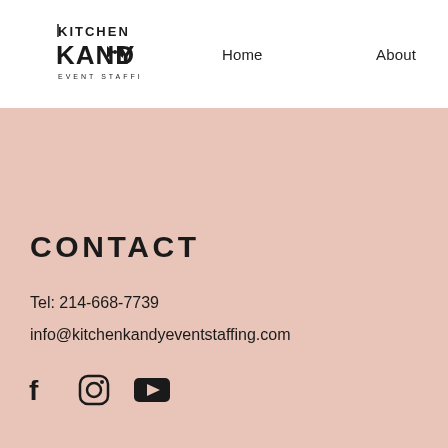[Figure (logo): Kitchen Kandy Event Staffing logo — stylized text with decorative bowtie element]
Home    About
CONTACT
Tel: 214-668-7739
info@kitchenkandyeventstaffing.com
[Figure (illustration): Social media icons: Facebook, Instagram, YouTube]